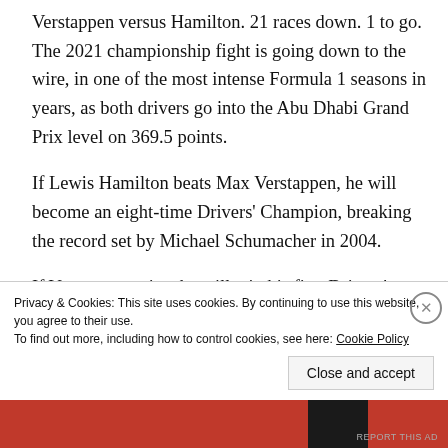Verstappen versus Hamilton. 21 races down. 1 to go. The 2021 championship fight is going down to the wire, in one of the most intense Formula 1 seasons in years, as both drivers go into the Abu Dhabi Grand Prix level on 369.5 points.
If Lewis Hamilton beats Max Verstappen, he will become an eight-time Drivers' Champion, breaking the record set by Michael Schumacher in 2004.
If Verstappen wins, he will win his first Drivers' Championship, becoming the 34th person to win the
Privacy & Cookies: This site uses cookies. By continuing to use this website, you agree to their use.
To find out more, including how to control cookies, see here: Cookie Policy